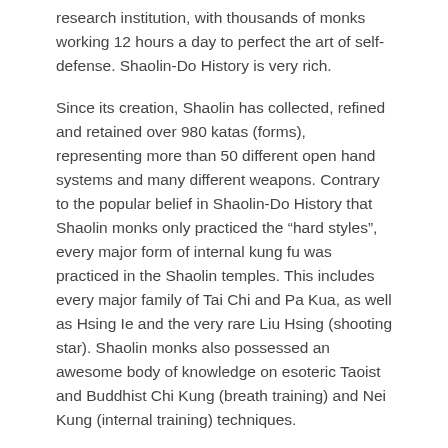research institution, with thousands of monks working 12 hours a day to perfect the art of self-defense. Shaolin-Do History is very rich.
Since its creation, Shaolin has collected, refined and retained over 980 katas (forms), representing more than 50 different open hand systems and many different weapons. Contrary to the popular belief in Shaolin-Do History that Shaolin monks only practiced the “hard styles”, every major form of internal kung fu was practiced in the Shaolin temples. This includes every major family of Tai Chi and Pa Kua, as well as Hsing Ie and the very rare Liu Hsing (shooting star). Shaolin monks also possessed an awesome body of knowledge on esoteric Taoist and Buddhist Chi Kung (breath training) and Nei Kung (internal training) techniques.
Fighting